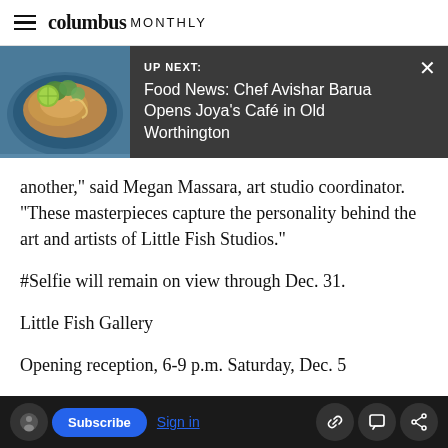columbus MONTHLY
[Figure (screenshot): UP NEXT banner with food image thumbnail showing a dish with lime and cilantro on a blue plate, dark gray background, title: Food News: Chef Avishar Barua Opens Joya's Café in Old Worthington]
another," said Megan Massara, art studio coordinator. "These masterpieces capture the personality behind the art and artists of Little Fish Studios."
#Selfie will remain on view through Dec. 31.
Little Fish Gallery
Opening reception, 6-9 p.m. Saturday, Dec. 5
Subscribe | Sign in | [link icon] [comment icon] [share icon]